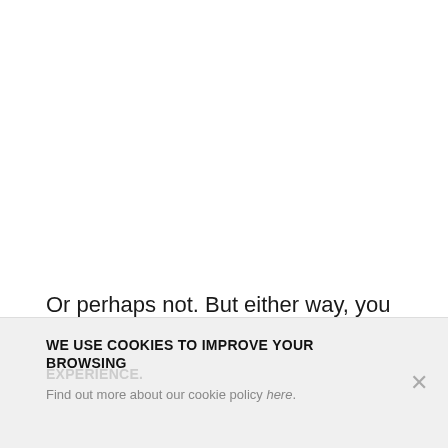Or perhaps not. But either way, you have to wonder what—if anything—this says about a potential Surface Pro 4 release.
WE USE COOKIES TO IMPROVE YOUR BROWSING EXPERIENCE. Find out more about our cookie policy here.